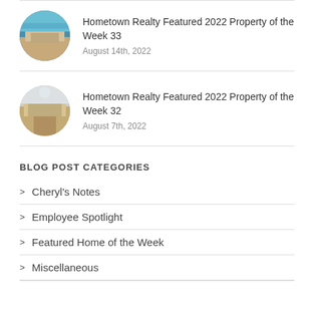[Figure (photo): Circular thumbnail of a residential property exterior, Week 33]
Hometown Realty Featured 2022 Property of the Week 33
August 14th, 2022
[Figure (photo): Circular thumbnail of a residential property exterior, Week 32]
Hometown Realty Featured 2022 Property of the Week 32
August 7th, 2022
BLOG POST CATEGORIES
Cheryl's Notes
Employee Spotlight
Featured Home of the Week
Miscellaneous